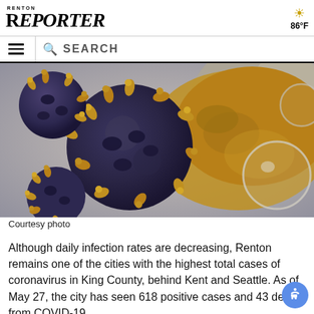RENTON REPORTER  86°F
≡  SEARCH
[Figure (photo): Electron microscope image of coronavirus particles, colored in dark blue/purple and gold/yellow on a grey background]
Courtesy photo
Although daily infection rates are decreasing, Renton remains one of the cities with the highest total cases of coronavirus in King County, behind Kent and Seattle. As of May 27, the city has seen 618 positive cases and 43 deaths from COVID-19.